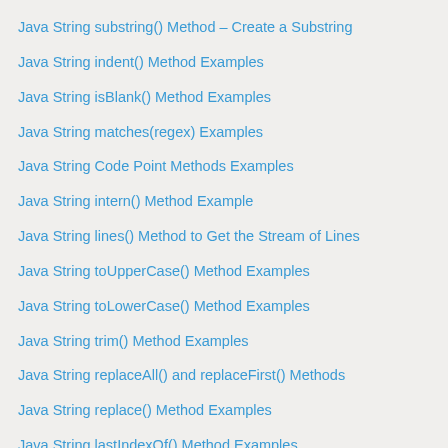Java String substring() Method – Create a Substring
Java String indent() Method Examples
Java String isBlank() Method Examples
Java String matches(regex) Examples
Java String Code Point Methods Examples
Java String intern() Method Example
Java String lines() Method to Get the Stream of Lines
Java String toUpperCase() Method Examples
Java String toLowerCase() Method Examples
Java String trim() Method Examples
Java String replaceAll() and replaceFirst() Methods
Java String replace() Method Examples
Java String lastIndexOf() Method Examples
Java String indexOf() Method Examples
Java String join() Method – 8 Practical Examples